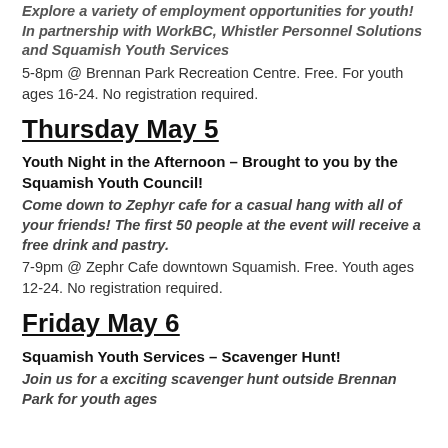Explore a variety of employment opportunities for youth! In partnership with WorkBC, Whistler Personnel Solutions and Squamish Youth Services
5-8pm @ Brennan Park Recreation Centre. Free. For youth ages 16-24. No registration required.
Thursday May 5
Youth Night in the Afternoon – Brought to you by the Squamish Youth Council!
Come down to Zephyr cafe for a casual hang with all of your friends! The first 50 people at the event will receive a free drink and pastry.
7-9pm @ Zephr Cafe downtown Squamish. Free. Youth ages 12-24. No registration required.
Friday May 6
Squamish Youth Services – Scavenger Hunt!
Join us for a exciting scavenger hunt outside Brennan Park for youth ages...